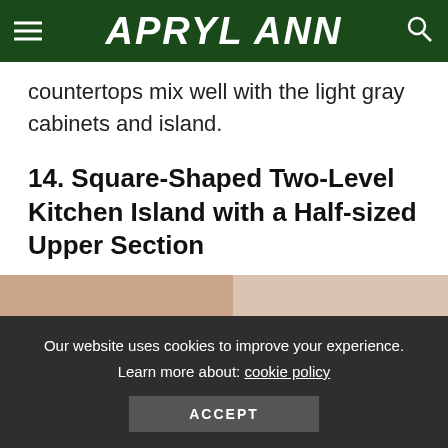APRYL ANN
countertops mix well with the light gray cabinets and island.
14. Square-Shaped Two-Level Kitchen Island with a Half-sized Upper Section
[Figure (photo): Kitchen image showing two-tone warm beige/tan tones, partially visible]
Our website uses cookies to improve your experience. Learn more about: cookie policy